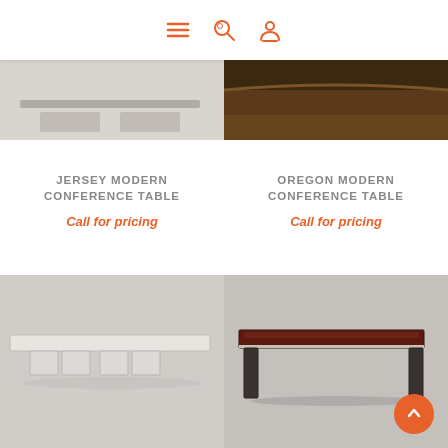Navigation header with menu, search, and account icons
[Figure (photo): Partial product images at top - left shows light background, right shows dark wood floor scene]
JERSEY MODERN CONFERENCE TABLE
Call for pricing
OREGON MODERN CONFERENCE TABLE
Call for pricing
[Figure (photo): White modern conference table with rectangular top and multiple pedestal bases, light grey background]
[Figure (photo): Dark wood modern conference table with sleek rectangular top and minimalist legs, light grey background]